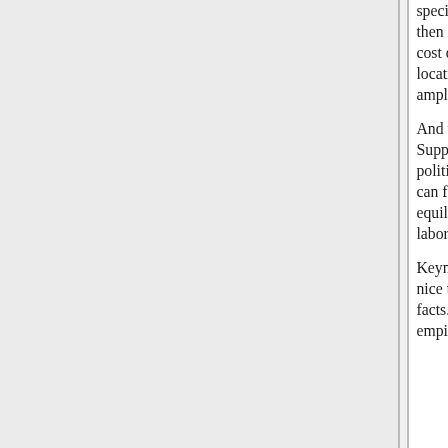specific, as ships obviously are, then it seems that the smallest cost differences between locations will be ever more amplified.
And what if labor is not equal? Suppose one country has political power structures which can firmly reduce the equilibrium demanded wage of laborers?
Keynes appears to have a very nice theory repudiated by nasty facts. He was sufficiently empirical that he